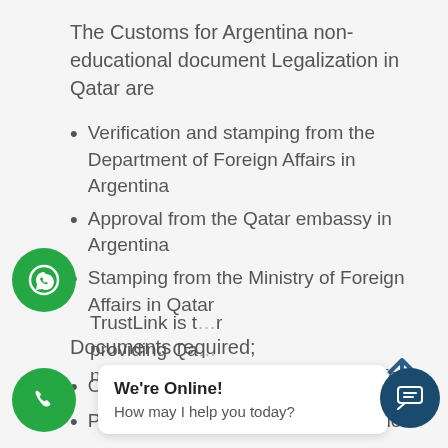The Customs for Argentina non-educational document Legalization in Qatar are
Verification and stamping from the Department of Foreign Affairs in Argentina
Approval from the Qatar embassy in Argentina
Stamping from the Ministry of Foreign Affairs in Qatar
Documents required;
Original documents
Passport copy of the document holder
TrustLink is t... r providing Qa... non-educational documents. We offer:
[Figure (other): WhatsApp green circular button with chat icon]
[Figure (other): Phone green circular button with phone icon]
[Figure (other): Chat support bubble: We're Online! How may I help you today?]
[Figure (other): Dark blue circular chat icon button bottom right]
[Figure (other): Dark blue up arrow icon]